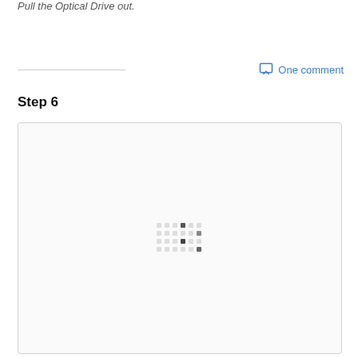Pull the Optical Drive out.
One comment
Step 6
[Figure (photo): Image placeholder with loading indicator dots for Step 6 of optical drive removal procedure]